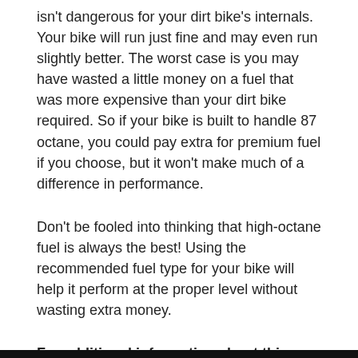isn't dangerous for your dirt bike's internals. Your bike will run just fine and may even run slightly better. The worst case is you may have wasted a little money on a fuel that was more expensive than your dirt bike required. So if your bike is built to handle 87 octane, you could pay extra for premium fuel if you choose, but it won't make much of a difference in performance.
Don't be fooled into thinking that high-octane fuel is always the best! Using the recommended fuel type for your bike will help it perform at the proper level without wasting extra money.
For additional information about this topic, check out the video below.